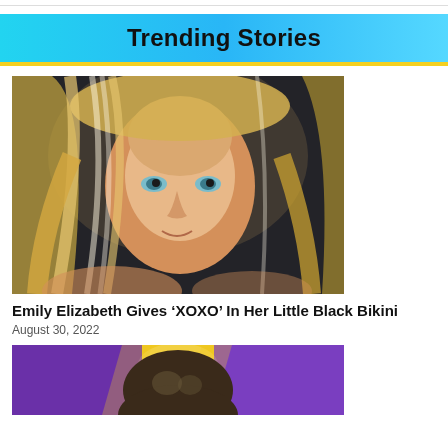Trending Stories
[Figure (photo): Close-up portrait of a young blonde woman with long wavy blonde hair and blue-green eyes, looking at the camera with a slight smile. Dark background.]
Emily Elizabeth Gives ‘XOXO’ In Her Little Black Bikini
August 30, 2022
[Figure (photo): Partially visible image with purple and yellow background showing the top of a person's head with dark hair.]